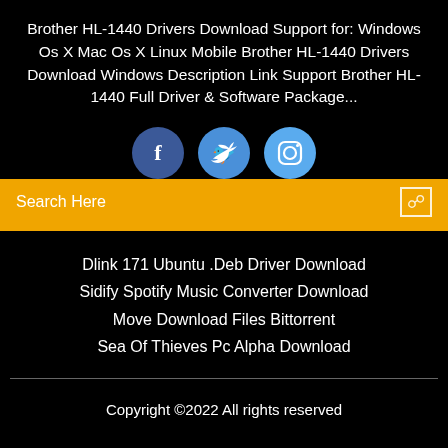Brother HL-1440 Drivers Download Support for: Windows Os X Mac Os X Linux Mobile Brother HL-1440 Drivers Download Windows Description Link Support Brother HL-1440 Full Driver & Software Package...
[Figure (illustration): Three social media icons: Facebook (dark blue circle with 'f'), Twitter (medium blue circle with bird), Instagram (light blue circle with camera icon)]
Search Here
Dlink 171 Ubuntu .Deb Driver Download
Sidify Spotify Music Converter Download
Move Download Files Bittorrent
Sea Of Thieves Pc Alpha Download
Copyright ©2022 All rights reserved